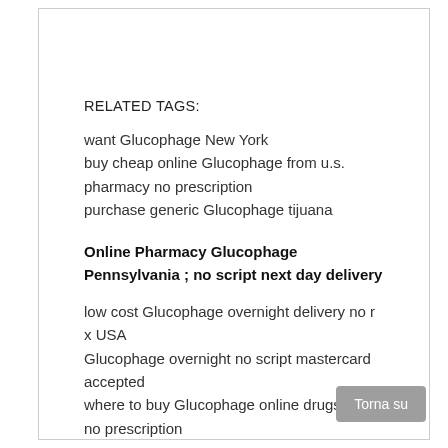RELATED TAGS:
want Glucophage New York
buy cheap online Glucophage from u.s. pharmacy no prescription
purchase generic Glucophage tijuana
Online Pharmacy Glucophage Pennsylvania ; no script next day delivery
low cost Glucophage overnight delivery no r x USA
Glucophage overnight no script mastercard accepted
where to buy Glucophage online drugstore no prescription
Glucophage nextday shipping
discount price for Glucophage without a prescription USA
Glucophage no rx
pharmacy Glucophage online no prescription fedex USA
Glucophage same day delivery USA
get approved Glucophage prescription from doctors online
Glucophage medication cod
mail order discounts on Glucophage no prescription USA